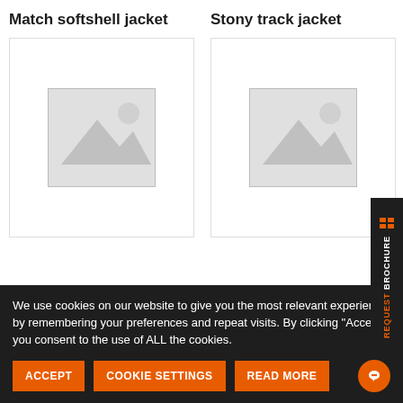Match softshell jacket
[Figure (photo): Placeholder image for Match softshell jacket product]
Stony track jacket
[Figure (photo): Placeholder image for Stony track jacket product]
We use cookies on our website to give you the most relevant experience by remembering your preferences and repeat visits. By clicking “Accept”, you consent to the use of ALL the cookies.
ACCEPT
COOKIE SETTINGS
READ MORE